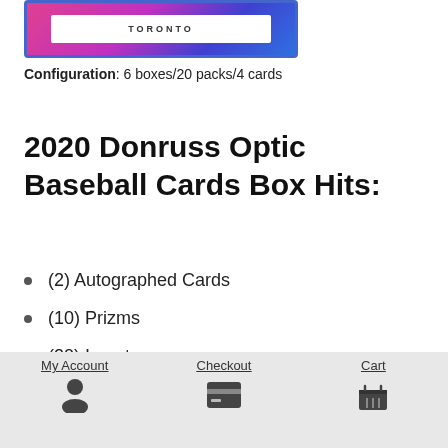[Figure (photo): Top of a trading card box showing a blue-bordered white label with 'TORONTO' text, against a pink/purple patterned background]
Configuration: 6 boxes/20 packs/4 cards
2020 Donruss Optic Baseball Cards Box Hits:
(2) Autographed Cards
(10) Prizms
(20) Inserts
[Figure (photo): Bottom portion of a baseball card product image showing a Rated Rookie card with purple/blue gradient background]
My Account   Checkout   Cart